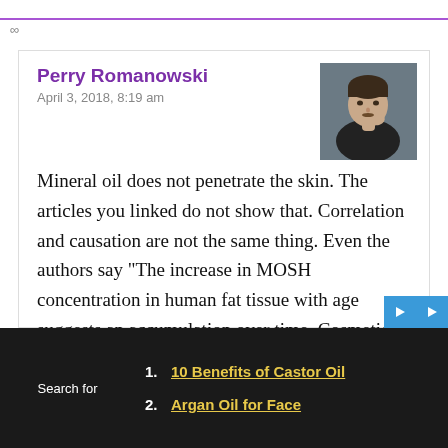∞
Perry Romanowski
April 3, 2018, 8:19 am
[Figure (photo): Headshot photo of Perry Romanowski, a man in dark clothing with his hand near his chin]
Mineral oil does not penetrate the skin. The articles you linked do not show that. Correlation and causation are not the same thing. Even the authors say “The increase in MOSH concentration in human fat tissue with age suggests an accumulation over time. Cosmetics might be a relevant source of the contamination.” The terms “suggests” and “might”
1. 10 Benefits of Castor Oil
2. Argan Oil for Face